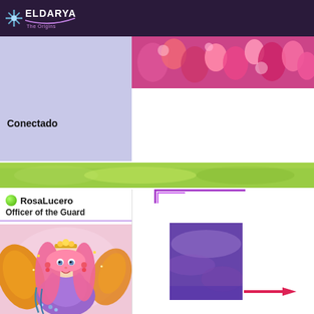[Figure (screenshot): Dark purple top navigation bar with Eldarya The Origins game logo on the left]
[Figure (photo): Colorful floral image with pink roses and flowers on the right side of the banner]
[Figure (photo): Green nature/grass blurred banner strip across full width]
Conectado
[Figure (screenshot): User profile card showing RosaLucero with green online indicator and title Officer of the Guard]
[Figure (illustration): Anime-style character illustration of a fairy girl with pink hair, golden crown, orange wings, and purple dress]
[Figure (screenshot): Purple decorative frame/icon element on the right side]
[Figure (photo): Purple sky/clouds image on the right side]
[Figure (illustration): Pink arrow/cursor decorative element at the bottom right]